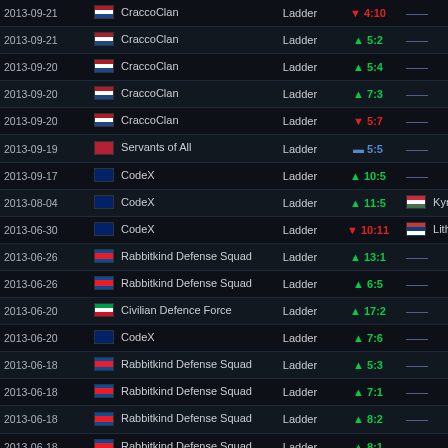| Date | Opponent | Type | Score | Player |
| --- | --- | --- | --- | --- |
| 2013-09-21 | CraccoClan | Ladder | ▼ 4:10 | — |
| 2013-09-21 | CraccoClan | Ladder | ▲ 5:2 | — |
| 2013-09-20 | CraccoClan | Ladder | ▲ 5:4 | — |
| 2013-09-20 | CraccoClan | Ladder | ▲ 7:3 | — |
| 2013-09-20 | CraccoClan | Ladder | ▼ 5:7 | — |
| 2013-09-19 | Servants of All | Ladder | — 5:5 | — |
| 2013-09-17 | CodeX | Ladder | ▲ 10:5 | — |
| 2013-08-04 | CodeX | Ladder | ▲ 11:5 | Kyro |
| 2013-06-30 | CodeX | Ladder | ▼ 10:11 | Lithium |
| 2013-06-26 | Rabbitkind Defense Squad | Ladder | ▲ 13:1 | — |
| 2013-06-26 | Rabbitkind Defense Squad | Ladder | ▲ 6:5 | — |
| 2013-06-20 | Civilian Defence Force | Ladder | ▲ 17:2 | — |
| 2013-06-20 | CodeX | Ladder | ▲ 7:6 | — |
| 2013-06-18 | Rabbitkind Defense Squad | Ladder | ▲ 5:3 | — |
| 2013-06-18 | Rabbitkind Defense Squad | Ladder | ▲ 7:1 | — |
| 2013-06-18 | Rabbitkind Defense Squad | Ladder | ▲ 8:2 | — |
| 2013-06-18 | Rabbitkind Defense Squad | Ladder | ▲ 8:1 | — |
| 2013-06-17 | Civilian Defence Force | Ladder | ▲ 15:3 | — |